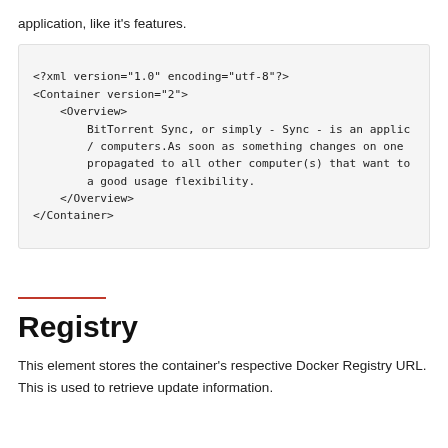application, like it's features.
<?xml version="1.0" encoding="utf-8"?>
<Container version="2">
    <Overview>
        BitTorrent Sync, or simply - Sync - is an applic
        / computers.As soon as something changes on one
        propagated to all other computer(s) that want to
        a good usage flexibility.
    </Overview>
</Container>
Registry
This element stores the container's respective Docker Registry URL. This is used to retrieve update information.